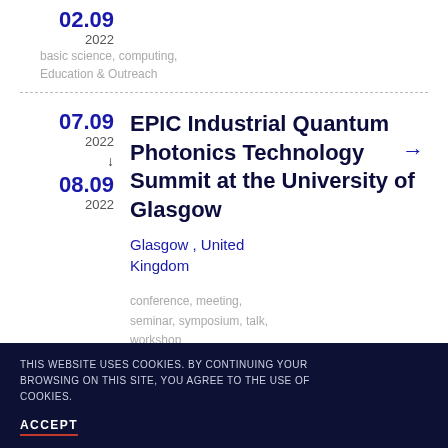02.09 2022 — basic science, computing, Education & Outreach
07.09 2022 → 08.09 2022
EPIC Industrial Quantum Photonics Technology Summit at the University of Glasgow
Glasgow, United Kingdom
conference, meeting, seminar, symposium, talk, workshop
07.09 Summer school in Science
THIS WEBSITE USES COOKIES. BY CONTINUING YOUR BROWSING ON THIS SITE, YOU AGREE TO THE USE OF COOKIES.
ACCEPT